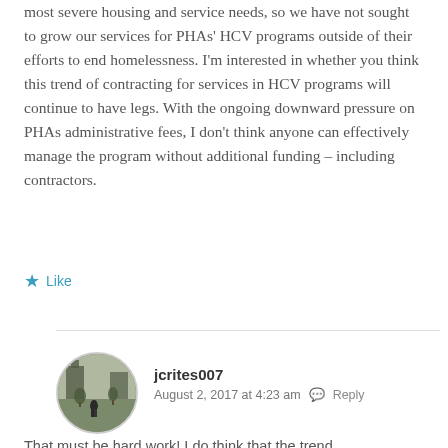most severe housing and service needs, so we have not sought to grow our services for PHAs' HCV programs outside of their efforts to end homelessness. I'm interested in whether you think this trend of contracting for services in HCV programs will continue to have legs. With the ongoing downward pressure on PHAs administrative fees, I don't think anyone can effectively manage the program without additional funding – including contractors.
Like
jcrites007
August 2, 2017 at 4:23 am  Reply
That must be hard work! I do think that the trend